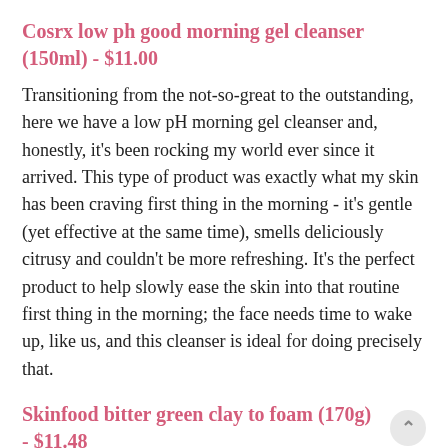Cosrx low ph good morning gel cleanser (150ml) - $11.00
Transitioning from the not-so-great to the outstanding, here we have a low pH morning gel cleanser and, honestly, it's been rocking my world ever since it arrived. This type of product was exactly what my skin has been craving first thing in the morning - it's gentle (yet effective at the same time), smells deliciously citrusy and couldn't be more refreshing. It's the perfect product to help slowly ease the skin into that routine first thing in the morning; the face needs time to wake up, like us, and this cleanser is ideal for doing precisely that.
Skinfood bitter green clay to foam (170g) - $11.48
And last, but not least, is a bittersweet ending as this green clay to foam product, although cleverly multi-usage